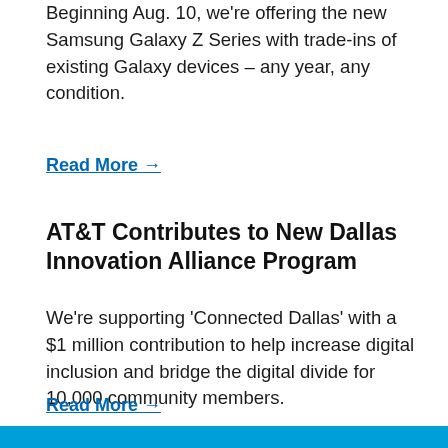Beginning Aug. 10, we're offering the new Samsung Galaxy Z Series with trade-ins of existing Galaxy devices – any year, any condition.
Read More →
AT&T Contributes to New Dallas Innovation Alliance Program
We're supporting 'Connected Dallas' with a $1 million contribution to help increase digital inclusion and bridge the digital divide for 10,000 community members.
Read More →